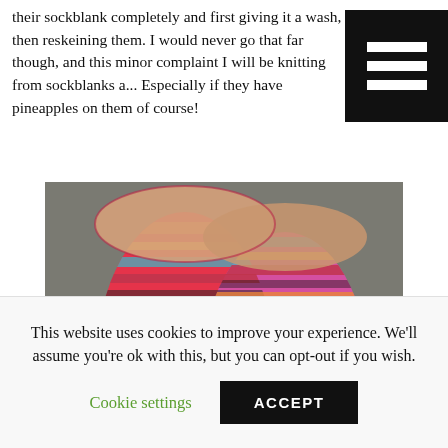their sockblank completely and first giving it a wash, then reskeining them. I would never go that far though, and this minor complaint I will be knitting from sockblanks a... Especially if they have pineapples on them of course!
[Figure (photo): Close-up photo of two colorful hand-knitted socks in pink, orange, yellow, teal and multicolor yarn, viewed from above on a stone/brick background.]
This website uses cookies to improve your experience. We'll assume you're ok with this, but you can opt-out if you wish.
Cookie settings   ACCEPT